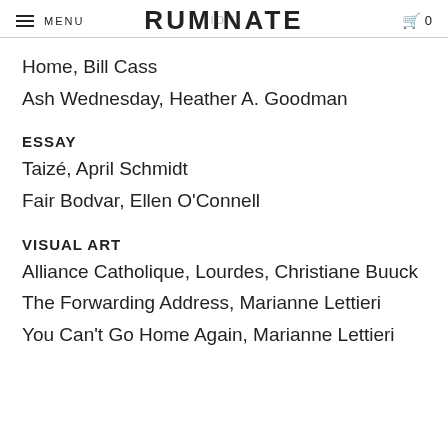MENU  RUMINATE  0
Home, Bill Cass
Ash Wednesday, Heather A. Goodman
ESSAY
Taizé, April Schmidt
Fair Bodvar, Ellen O'Connell
VISUAL ART
Alliance Catholique, Lourdes, Christiane Buuck
The Forwarding Address, Marianne Lettieri
You Can't Go Home Again, Marianne Lettieri